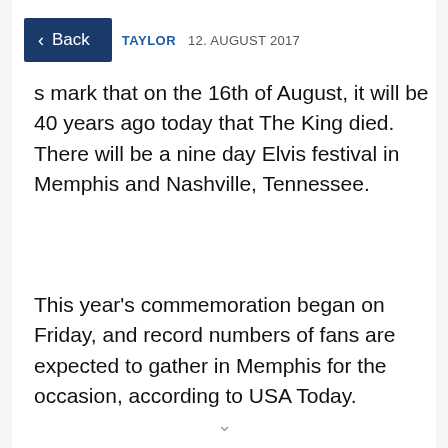Back  TAYLOR  12. AUGUST 2017
...s mark that on the 16th of August, it will be 40 years ago today that The King died. There will be a nine day Elvis festival in Memphis and Nashville, Tennessee.
This year's commemoration began on Friday, and record numbers of fans are expected to gather in Memphis for the occasion, according to USA Today.